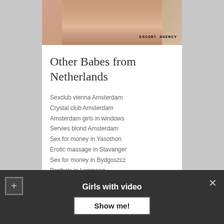[Figure (photo): Partial photo of a person with 'ESCORT AGENCY' text overlay in bold monospace font]
Other Babes from Netherlands
Sexclub vienna Amsterdam
Crystal club Amsterdam
Amsterdam girls in windows
Servies blond Amsterdam
Sex for money in Yasothon
Erotic massage in Stavanger
Sex for money in Bydgoszcz
Brothels in Lampang
Escort in Santiago
Girls with video
Show me!